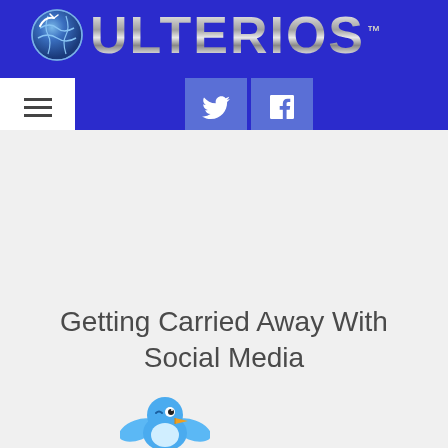[Figure (logo): Ulterios website header with globe logo icon and metallic ULTERIOS text on blue background, with hamburger menu and Twitter/Facebook social media buttons]
Getting Carried Away With Social Media
[Figure (illustration): Blue Twitter bird mascot illustration at bottom of page]